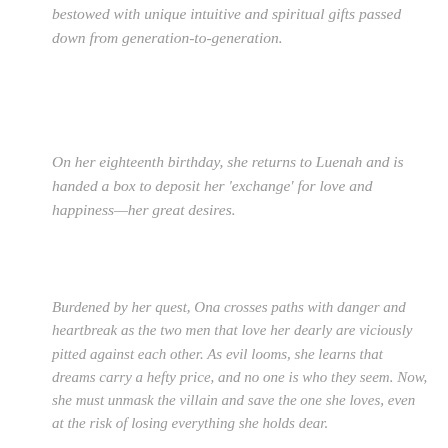grandmother. Unlike her, 'One found she is an Eze', one bestowed with unique intuitive and spiritual gifts passed down from generation-to-generation.
On her eighteenth birthday, she returns to Luenah and is handed a box to deposit her 'exchange' for love and happiness—her great desires.
Burdened by her quest, Ona crosses paths with danger and heartbreak as the two men that love her dearly are viciously pitted against each other. As evil looms, she learns that dreams carry a hefty price, and no one is who they seem. Now, she must unmask the villain and save the one she loves, even at the risk of losing everything she holds dear.
Set against the backdrop of two warring towns, Oby Aligwekwe's Young Adult debut—told from the viewpoint of her main character—is inspired by her West African heritage, fables, and spiritual beliefs. Ona's journey reveals the power of choice, the true source of happiness, and, most importantly, the transformation one must go through to realize and